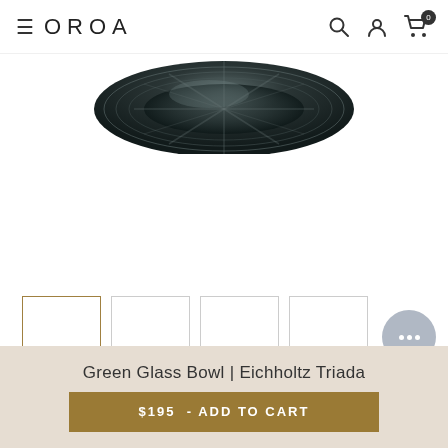OROA
[Figure (photo): Partial view of a dark green glass bowl (Eichholtz Triada) showing the top portion with ribbed/fluted texture against a white background]
[Figure (photo): Four product thumbnail images in a horizontal strip, the first one selected/active with a gold border]
Green Glass Bowl | Eichholtz Triada
$195 - ADD TO CART